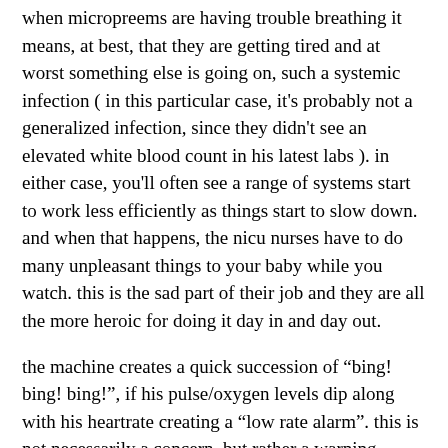when micropreems are having trouble breathing it means, at best, that they are getting tired and at worst something else is going on, such a systemic infection ( in this particular case, it's probably not a generalized infection, since they didn't see an elevated white blood count in his latest labs ). in either case, you'll often see a range of systems start to work less efficiently as things start to slow down. and when that happens, the nicu nurses have to do many unpleasant things to your baby while you watch. this is the sad part of their job and they are all the more heroic for doing it day in and day out.
the machine creates a quick succession of “bing! bing! bing!”, if his pulse/oxygen levels dip along with his heartrate creating a “low rate alarm”. this is not necessarily a concern, but rather a warning.
a different and more urgent sounding pattern of “bings!” emanates from the machine if the “low rate warning” progresses to full-blown apnea ( not breathing ). at that point